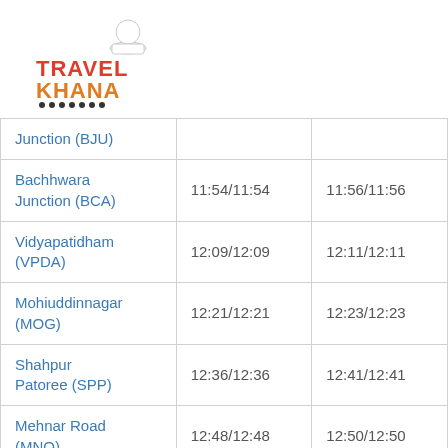[Figure (logo): TravelKhana logo with chef hat icon and orange/red text]
| Junction (BJU) |  |  |
| Bachhwara Junction (BCA) | 11:54/11:54 | 11:56/11:56 |
| Vidyapatidham (VPDA) | 12:09/12:09 | 12:11/12:11 |
| Mohiuddinnagar (MOG) | 12:21/12:21 | 12:23/12:23 |
| Shahpur Patoree (SPP) | 12:36/12:36 | 12:41/12:41 |
| Mehnar Road (MNO) | 12:48/12:48 | 12:50/12:50 |
| Desari (DES) | 12:59/12:59 | 13:01/13:01 |